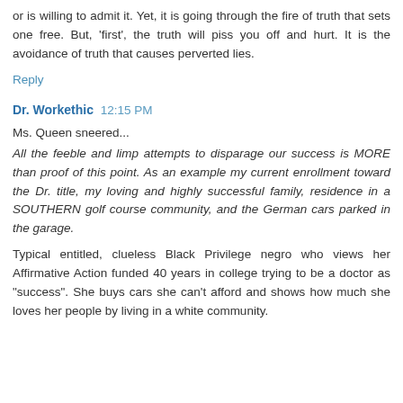or is willing to admit it. Yet, it is going through the fire of truth that sets one free. But, 'first', the truth will piss you off and hurt. It is the avoidance of truth that causes perverted lies.
Reply
Dr. Workethic  12:15 PM
Ms. Queen sneered...
All the feeble and limp attempts to disparage our success is MORE than proof of this point. As an example my current enrollment toward the Dr. title, my loving and highly successful family, residence in a SOUTHERN golf course community, and the German cars parked in the garage.
Typical entitled, clueless Black Privilege negro who views her Affirmative Action funded 40 years in college trying to be a doctor as "success". She buys cars she can't afford and shows how much she loves her people by living in a white community.